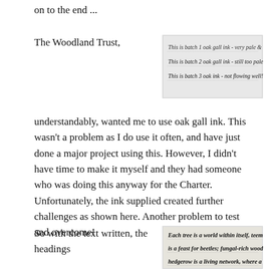on to the end ...
The Woodland Trust,
[Figure (photo): Handwritten calligraphy samples showing three batches of oak gall ink with notes: 'This is batch 1 oak gall ink - very pale & watery', 'This is batch 2 oak gall ink - still too pale & watery', 'This is batch 3 oak ink - not flowing well!']
understandably, wanted me to use oak gall ink. This wasn't a problem as I do use it often, and have just done a major project using this. However, I didn't have time to make it myself and they had someone who was doing this anyway for the Charter. Unfortunately, the ink supplied created further challenges as shown here. Another problem to test and overcome!
So with the text written, the headings
[Figure (photo): Calligraphy text reading: 'Each tree is a world within itself, teeming is a feast for beetles; fungal-rich woodlan hedgerow is a living network, where a ho']